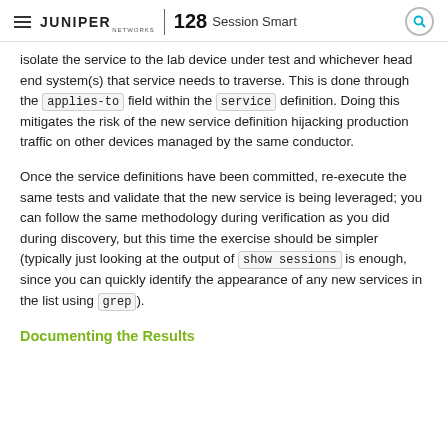☰ JUNIPER NETWORKS | 128 Session Smart 🔍
isolate the service to the lab device under test and whichever head end system(s) that service needs to traverse. This is done through the applies-to field within the service definition. Doing this mitigates the risk of the new service definition hijacking production traffic on other devices managed by the same conductor.
Once the service definitions have been committed, re-execute the same tests and validate that the new service is being leveraged; you can follow the same methodology during verification as you did during discovery, but this time the exercise should be simpler (typically just looking at the output of show sessions is enough, since you can quickly identify the appearance of any new services in the list using grep).
Documenting the Results